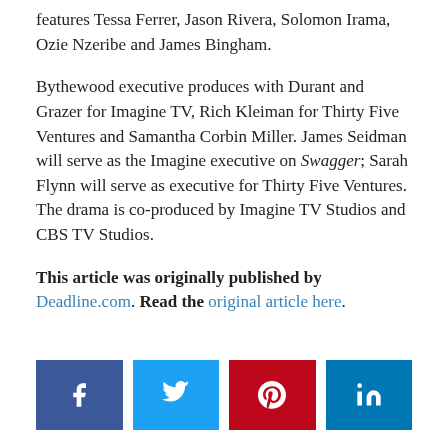features Tessa Ferrer, Jason Rivera, Solomon Irama, Ozie Nzeribe and James Bingham.
Bythewood executive produces with Durant and Grazer for Imagine TV, Rich Kleiman for Thirty Five Ventures and Samantha Corbin Miller. James Seidman will serve as the Imagine executive on Swagger; Sarah Flynn will serve as executive for Thirty Five Ventures. The drama is co-produced by Imagine TV Studios and CBS TV Studios.
This article was originally published by Deadline.com. Read the original article here.
[Figure (infographic): Social sharing buttons: Facebook (blue), Twitter (light blue), Pinterest (red), LinkedIn (dark blue)]